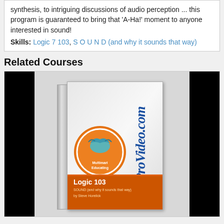synthesis, to intriguing discussions of audio perception … this program is guaranteed to bring that 'A-Ha!' moment to anyone interested in sound!
Skills: Logic 7 103, S O U N D (and why it sounds that way)
Related Courses
[Figure (photo): DVD case for macProVideo.com Logic 103 course - SOUND (and why it sounds that way) by Steve Horelick, showing the macProVideo.com branding on the spine and an orange logo circle with an educator figure, against black side bars]